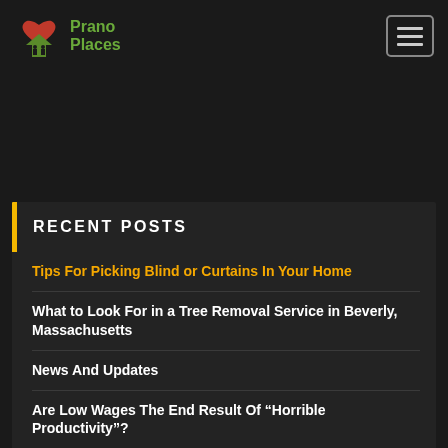[Figure (logo): Prano Places logo with red heart and green house/people icon]
RECENT POSTS
Tips For Picking Blind or Curtains In Your Home
What to Look For in a Tree Removal Service in Beverly, Massachusetts
News And Updates
Are Low Wages The End Result Of “Horrible Productivity”?
Uci Law Viewbook